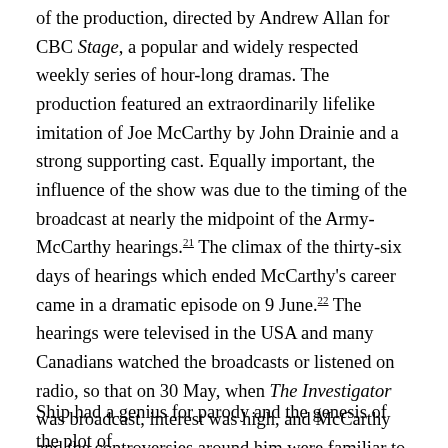of the production, directed by Andrew Allan for CBC Stage, a popular and widely respected weekly series of hour-long dramas. The production featured an extraordinarily lifelike imitation of Joe McCarthy by John Drainie and a strong supporting cast. Equally important, the influence of the show was due to the timing of the broadcast at nearly the midpoint of the Army-McCarthy hearings.21 The climax of the thirty-six days of hearings which ended McCarthy's career came in a dramatic episode on 9 June.22 The hearings were televised in the USA and many Canadians watched the broadcasts or listened on radio, so that on 30 May, when The Investigator was broadcast, interest was high, and McCarthy and the controversies around him were familiar to audiences.

Ship had a genius for parody and the genesis of the plot of